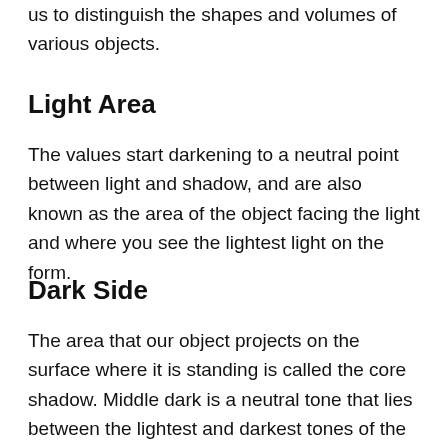us to distinguish the shapes and volumes of various objects.
Light Area
The values start darkening to a neutral point between light and shadow, and are also known as the area of the object facing the light and where you see the lightest light on the form.
Dark Side
The area that our object projects on the surface where it is standing is called the core shadow. Middle dark is a neutral tone that lies between the lightest and darkest tones of the shadow and can grow or shrink in size depending on the angle of the li...